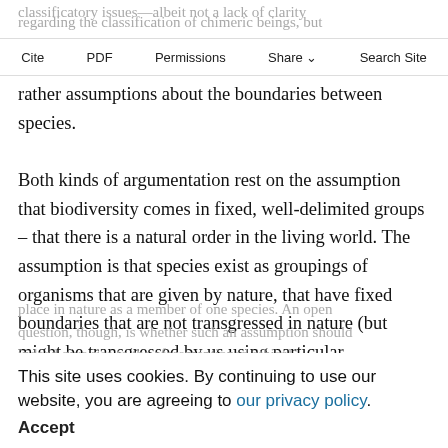classificatory issues—albeit not a lack of clarity regarding the classification of chimeric beings, but rather assumptions about the boundaries between species.
Cite  PDF  Permissions  Share  Search Site
Both kinds of argumentation rest on the assumption that biodiversity comes in fixed, well-delimited groups – that there is a natural order in the living world. The assumption is that species exist as groupings of organisms that are given by nature, that have fixed boundaries that are not transgressed in nature (but might be transgressed by us using particular technologies) and that every organism has its proper
place in nature as a member of one species. An open question, though, is whether such an assumption should indeed give rise to the aforementioned ethical concerns, and in what way it could legitimately give rise
This site uses cookies. By continuing to use our website, you are agreeing to our privacy policy.
Accept